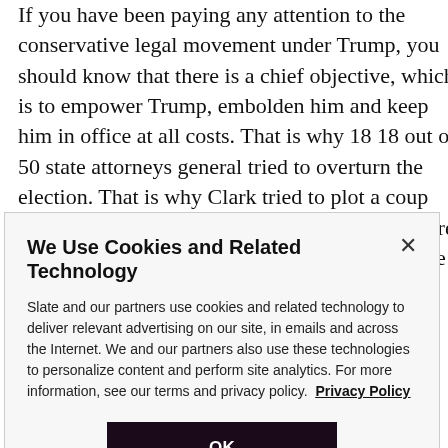If you have been paying any attention to the conservative legal movement under Trump, you should know that there is a chief objective, which is to empower Trump, embolden him and keep him in office at all costs. That is why 18 18 out of 50 state attorneys general tried to overturn the election. That is why Clark tried to plot a coup and then overturn Georgia's results, because there is a higher principle among a large faction of the conservative legal movement than just
We Use Cookies and Related Technology
Slate and our partners use cookies and related technology to deliver relevant advertising on our site, in emails and across the Internet. We and our partners also use these technologies to personalize content and perform site analytics. For more information, see our terms and privacy policy. Privacy Policy